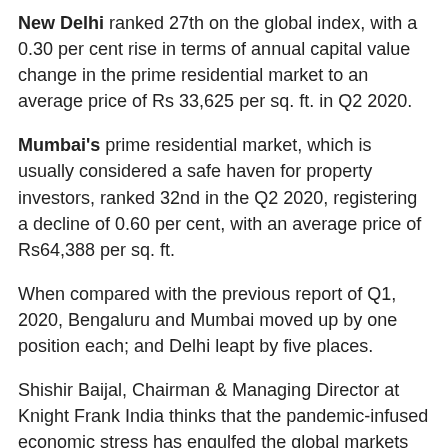New Delhi ranked 27th on the global index, with a 0.30 per cent rise in terms of annual capital value change in the prime residential market to an average price of Rs 33,625 per sq. ft. in Q2 2020.
Mumbai's prime residential market, which is usually considered a safe haven for property investors, ranked 32nd in the Q2 2020, registering a decline of 0.60 per cent, with an average price of Rs64,388 per sq. ft.
When compared with the previous report of Q1, 2020, Bengaluru and Mumbai moved up by one position each; and Delhi leapt by five places.
Shishir Baijal, Chairman & Managing Director at Knight Frank India thinks that the pandemic-infused economic stress has engulfed the global markets with a fear of uncertainty and that the ultra-rich buyers around the world are deferring the high-premium purchase of a